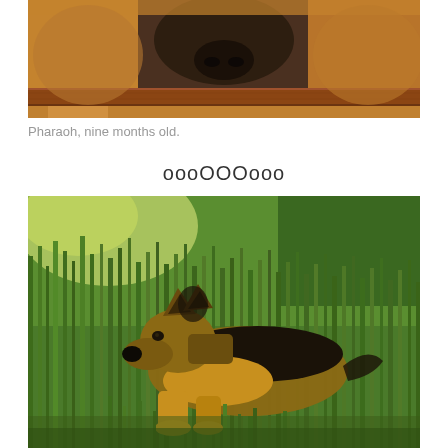[Figure (photo): Close-up photo of dogs peeking over a wooden railing or fence, showing faces and paws. Background shows brown/tan fur animals looking over a horizontal wooden bar.]
Pharaoh, nine months old.
oooOOOooo
[Figure (photo): A German Shepherd dog lying in tall green grass, looking to the left. The dog has a classic black and tan coloring. Background shows lush green vegetation and bushes.]